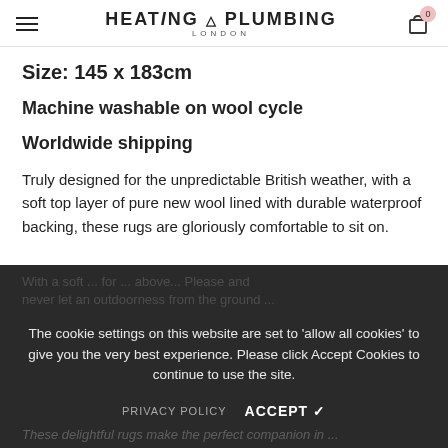HEATING & PLUMBING LONDON
Size: 145 x 183cm
Machine washable on wool cycle
Worldwide shipping
Truly designed for the unpredictable British weather, with a soft top layer of pure new wool lined with durable waterproof backing, these rugs are gloriously comfortable to sit on.
The cookie settings on this website are set to 'allow all cookies' to give you the very best experience. Please click Accept Cookies to continue to use the site.
PRIVACY POLICY   ACCEPT ✓